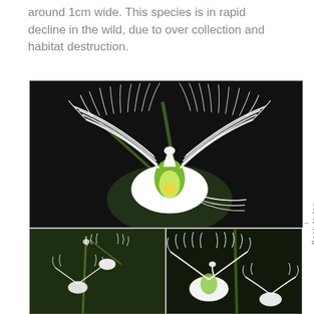around 1cm wide. This species is in rapid decline in the wild, due to over collection and habitat destruction.
[Figure (photo): Three photographs of a white egret orchid (Habenaria radiata). Top image: close-up macro shot of a single white flower with large fringed wing-like petals resembling a white egret or bird in flight, against a dark background. Bottom left: multiple orchid blooms on a stem with green foliage. Bottom right: close-up of two blooms showing the bird-like appearance of the flowers.]
Back to top